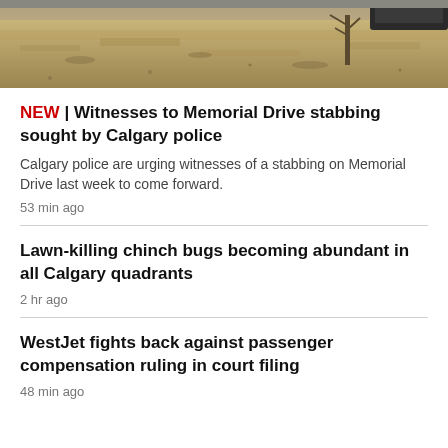[Figure (photo): Outdoor photo showing dry brown grass with a small tree and a dark vehicle partially visible at the top right. The scene appears to be a roadside or park area in dry conditions.]
NEW | Witnesses to Memorial Drive stabbing sought by Calgary police
Calgary police are urging witnesses of a stabbing on Memorial Drive last week to come forward.
53 min ago
Lawn-killing chinch bugs becoming abundant in all Calgary quadrants
2 hr ago
WestJet fights back against passenger compensation ruling in court filing
48 min ago